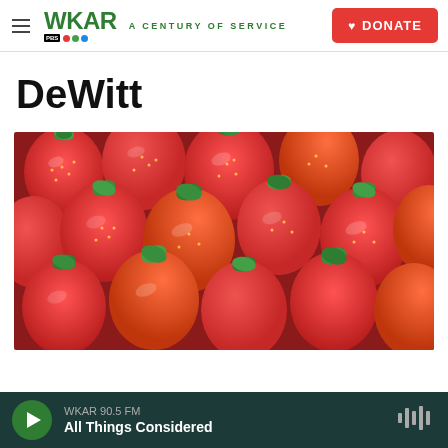WKAR A CENTURY OF SERVICE | DONATE
DeWitt
[Figure (photo): Close-up photograph of a large pile of fresh red strawberries with green stems and leaves]
WKAR 90.5 FM — All Things Considered